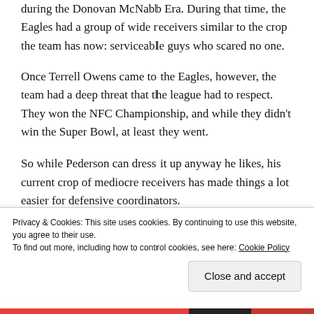during the Donovan McNabb Era. During that time, the Eagles had a group of wide receivers similar to the crop the team has now: serviceable guys who scared no one.
Once Terrell Owens came to the Eagles, however, the team had a deep threat that the league had to respect. They won the NFC Championship, and while they didn't win the Super Bowl, at least they went.
So while Pederson can dress it up anyway he likes, his current crop of mediocre receivers has made things a lot easier for defensive coordinators.
Privacy & Cookies: This site uses cookies. By continuing to use this website, you agree to their use.
To find out more, including how to control cookies, see here: Cookie Policy
Close and accept